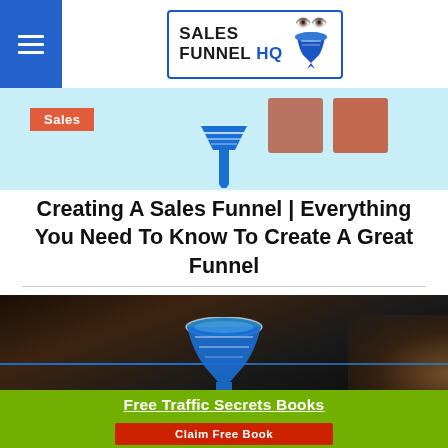Sales Funnel HQ
[Figure (illustration): Sales funnel banner strip with light blue background, 'Sales' label in orange-red, and a blue funnel icon in the center bottom]
Creating A Sales Funnel | Everything You Need To Know To Create A Great Funnel
[Figure (photo): Dark background hero image showing hands on a tablet/device, with a blue funnel icon centered and a blue horizontal line across the middle]
Free Traffic Secrets Books
Claim Free Book